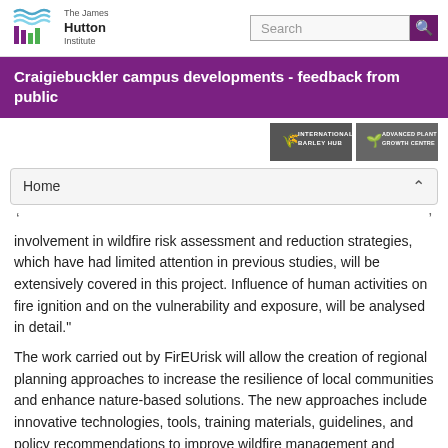The James Hutton Institute | Search
Craigiebuckler campus developments - feedback from public
[Figure (logo): International Barley Hub and Advanced Plant Growth Centre partner logos]
Home
involvement in wildfire risk assessment and reduction strategies, which have had limited attention in previous studies, will be extensively covered in this project. Influence of human activities on fire ignition and on the vulnerability and exposure, will be analysed in detail."
The work carried out by FirEUrisk will allow the creation of regional planning approaches to increase the resilience of local communities and enhance nature-based solutions. The new approaches include innovative technologies, tools, training materials, guidelines, and policy recommendations to improve wildfire management and reduce their most damaging effects.